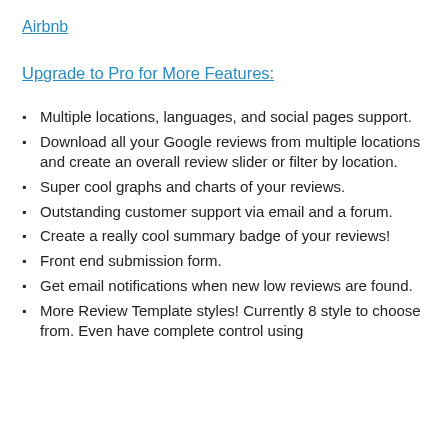Airbnb
Upgrade to Pro for More Features:
Multiple locations, languages, and social pages support.
Download all your Google reviews from multiple locations and create an overall review slider or filter by location.
Super cool graphs and charts of your reviews.
Outstanding customer support via email and a forum.
Create a really cool summary badge of your reviews!
Front end submission form.
Get email notifications when new low reviews are found.
More Review Template styles! Currently 8 style to choose from. Even have complete control using